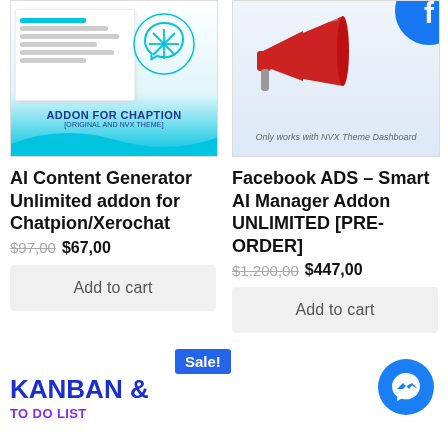[Figure (screenshot): Product image for AI Content Generator addon - shows a document with OpenAI logo, blue wave decoration, and 'ADDON FOR CHAPTION' text]
AI Content Generator Unlimited addon for Chatpion/Xerochat
$97,00 $67,00
Add to cart
[Figure (screenshot): Product image for Facebook ADS Smart AI Manager - shows a megaphone with Facebook logo and 'Only works with NVX Theme Dashboard' text]
Facebook ADS – Smart AI Manager Addon UNLIMITED [PRE-ORDER]
$1.200,00 $447,00
Add to cart
Sale!
KANBAN & TO DO LIST